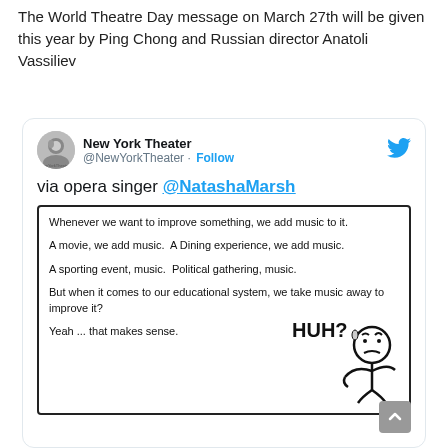The World Theatre Day message on March 27th will be given this year by Ping Chong and Russian director Anatoli Vassiliev
[Figure (screenshot): Tweet from @NewYorkTheater sharing a post via opera singer @NatashaMarsh about music in education. The tweet contains an embedded image with text: 'Whenever we want to improve something, we add music to it. A movie, we add music. A Dining experience, we add music. A sporting event, music. Political gathering, music. But when it comes to our educational system, we take music away to improve it? Yeah ... that makes sense.' with a confused stick figure and 'HUH?' text.]